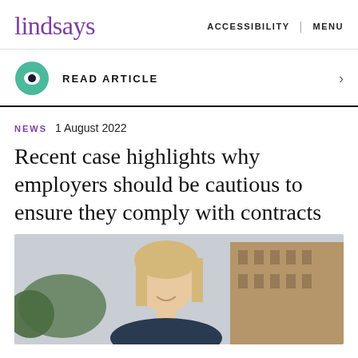lindsays   ACCESSIBILITY | MENU
READ ARTICLE
NEWS   1 August 2022
Recent case highlights why employers should be cautious to ensure they comply with contracts
[Figure (photo): Smiling blonde woman outdoors with a stone building in the background]